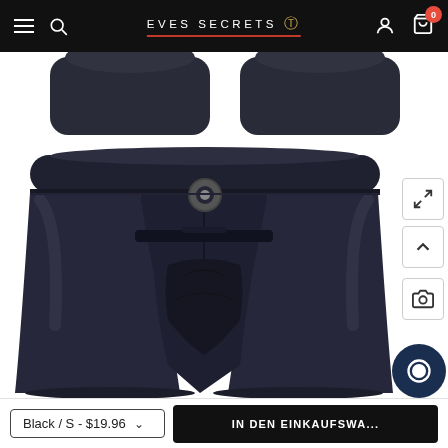EVES SECRETS
[Figure (photo): Two black leather-look boxer shorts shown from above, partial view at top of page]
[Figure (photo): Black matte leather-look open-front boxer shorts with metal O-ring detail at center waistband]
Black / S - $19.96
IN DEN EINKAUFSWA...